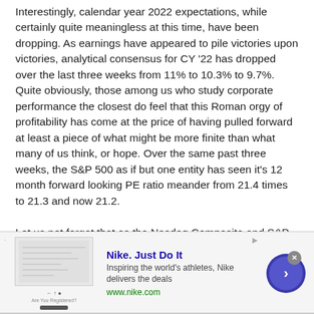Interestingly, calendar year 2022 expectations, while certainly quite meaningless at this time, have been dropping. As earnings have appeared to pile victories upon victories, analytical consensus for CY '22 has dropped over the last three weeks from 11% to 10.3% to 9.7%. Quite obviously, those among us who study corporate performance the closest do feel that this Roman orgy of profitability has come at the price of having pulled forward at least a piece of what might be more finite than what many of us think, or hope. Over the same past three weeks, the S&P 500 as if but one entity has seen it's 12 month forward looking PE ratio meander from 21.4 times to 21.3 and now 21.2.
Let us not forget that as the Nasdaq Composite and S&P 500 both posted their second losing week in three, that both former rally…indices the Russell 2000 and S&P
[Figure (other): Nike advertisement banner with logo image on left, text 'Nike. Just Do It' as title, 'Inspiring the world's athletes, Nike delivers the deals' as description, 'www.nike.com' as URL, and a circular blue arrow button on the right. A close button (X) appears at top right of the banner.]